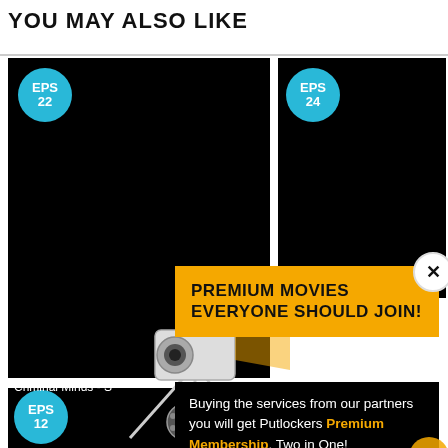YOU MAY ALSO LIKE
[Figure (screenshot): Streaming website screenshot showing 'YOU MAY ALSO LIKE' section with two black video thumbnail cards labeled EPS 22 and EPS 24, a third card EPS 12 partially visible, and an ad overlay for 'PREMIUM MOVIES EVERYONE SHOULD JOIN!' with a film camera illustration and text about Putlockers Premium Membership. A Criminal Minds label is visible on the left card.]
PREMIUM MOVIES EVERYONE SHOULD JOIN!
Buying the services from our partners you will get Putlockers Premium Membership. Two in One!